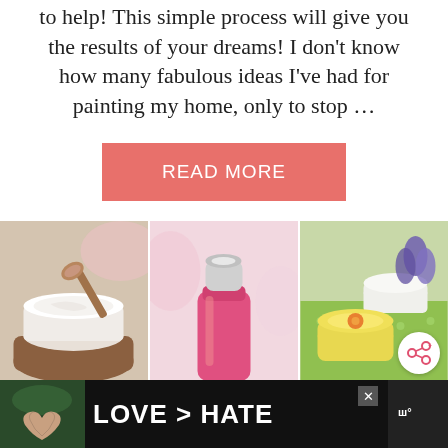to help! This simple process will give you the results of your dreams! I don't know how many fabulous ideas I've had for painting my home, only to stop …
READ MORE
[Figure (photo): Three product photos side by side: left shows a jar of white cream with a wooden spoon, center shows a pink perfume/lotion bottle, right shows small yellow cream jars with flowers on a green polka-dot surface.]
[Figure (photo): Advertisement banner at the bottom with dark background, hands forming a heart shape on the left, text reading LOVE > HATE, and a media logo on the right.]